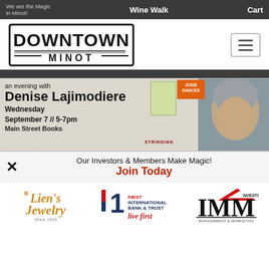We are the Magic in Minot! | Wine Walk | Cart
[Figure (logo): Downtown Minot logo — bold block lettering with decorative border]
[Figure (photo): Event banner: an evening with Denise Lajimodiere, Wednesday September 7 // 5-7pm, Main Street Books, with book cover Josie Dances and photo of author]
Our Investors & Members Make Magic!
Join Today
[Figure (logo): Lien's Jewelry logo — Since 1903]
[Figure (logo): First International Bank & Trust — live first logo]
[Figure (logo): Investors Management & Marketing (IMM) logo]